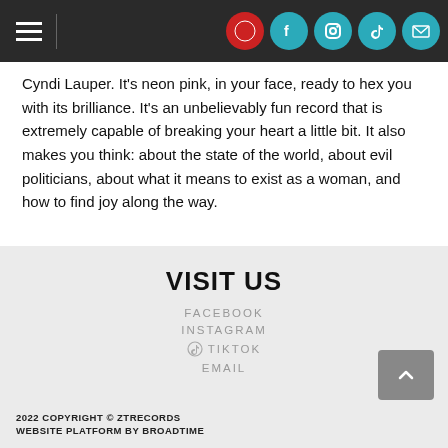[Navigation header with hamburger menu and social icons: Facebook, Instagram, TikTok, Email]
Cyndi Lauper. It's neon pink, in your face, ready to hex you with its brilliance. It's an unbelievably fun record that is extremely capable of breaking your heart a little bit. It also makes you think: about the state of the world, about evil politicians, about what it means to exist as a woman, and how to find joy along the way.
VISIT US
FACEBOOK
INSTAGRAM
TIKTOK
EMAIL
2022 COPYRIGHT © ZTRECORDS
WEBSITE PLATFORM BY BROADTIME